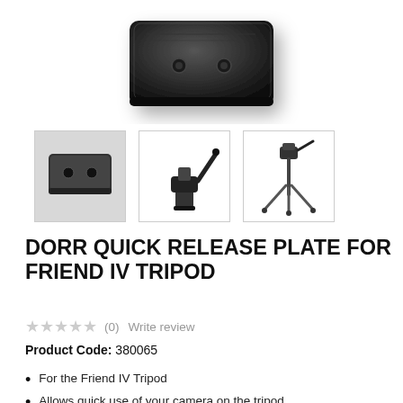[Figure (photo): Main product image: black quick release plate for tripod, viewed from above at an angle, on white background]
[Figure (photo): Thumbnail 1: quick release plate on grey background]
[Figure (photo): Thumbnail 2: tripod head with quick release mechanism, close-up]
[Figure (photo): Thumbnail 3: full tripod with camera head]
DORR QUICK RELEASE PLATE FOR FRIEND IV TRIPOD
★★★★★ (0) Write review
Product Code: 380065
For the Friend IV Tripod
Allows quick use of your camera on the tripod
Easy to attach and detach